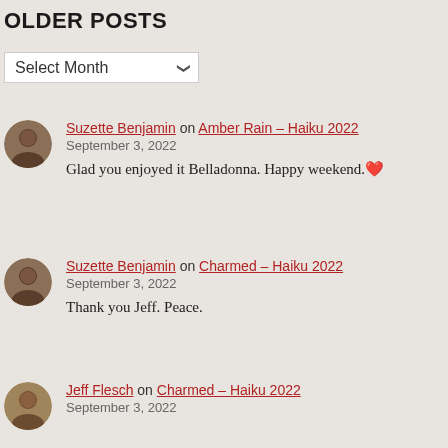OLDER POSTS
Select Month
Suzette Benjamin on Amber Rain – Haiku 2022
September 3, 2022
Glad you enjoyed it Belladonna. Happy weekend. ❤
Suzette Benjamin on Charmed – Haiku 2022
September 3, 2022
Thank you Jeff. Peace.
Jeff Flesch on Charmed – Haiku 2022
September 3, 2022